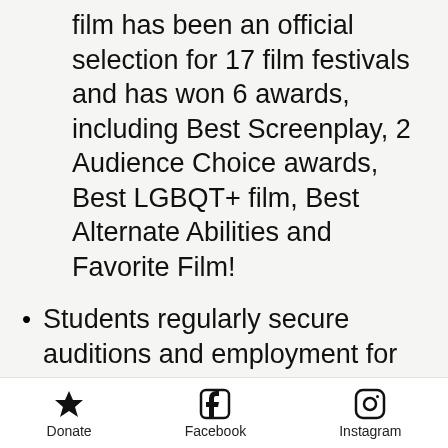film has been an official selection for 17 film festivals and has won 6 awards, including Best Screenplay, 2 Audience Choice awards, Best LGBQT+ film, Best Alternate Abilities and Favorite Film!
Students regularly secure auditions and employment for acting and voice acting roles for networks like HBO MAX, Netflix, Amazon, NBC, Disney, Hulu, Fox, Comedy Central, Cartoon Network, etc.
Students have landed paid jobs scoring productions for "Sesame Street", "Exceptional Minds" and the "Genius is...
Donate   Facebook   Instagram